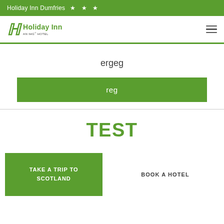Holiday Inn Dumfries ★ ★ ★
[Figure (logo): Holiday Inn logo — green stylized H with 'Holiday Inn' wordmark and 'AN IHG HOTEL' subtext]
ergeg
reg
TEST
TAKE A TRIP TO SCOTLAND
BOOK A HOTEL